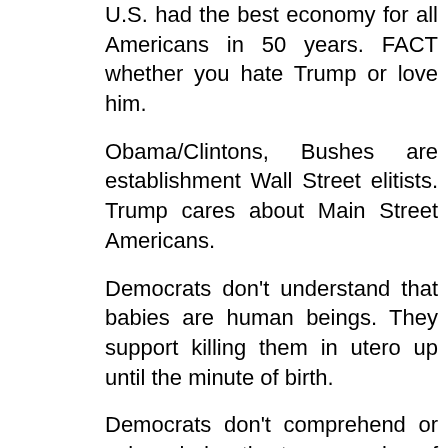U.S. had the best economy for all Americans in 50 years. FACT whether you hate Trump or love him.
Obama/Clintons, Bushes are establishment Wall Street elitists. Trump cares about Main Street Americans.
Democrats don't understand that babies are human beings. They support killing them in utero up until the minute of birth.
Democrats don't comprehend or acknowledge the true meaning of the U.S.